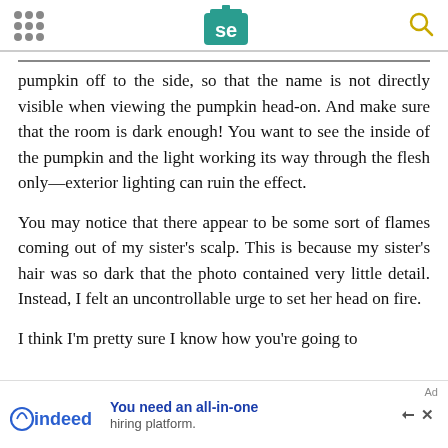[Serious Eats logo with navigation dots and search icon]
pumpkin off to the side, so that the name is not directly visible when viewing the pumpkin head-on. And make sure that the room is dark enough! You want to see the inside of the pumpkin and the light working its way through the flesh only—exterior lighting can ruin the effect.
You may notice that there appear to be some sort of flames coming out of my sister's scalp. This is because my sister's hair was so dark that the photo contained very little detail. Instead, I felt an uncontrollable urge to set her head on fire.
I think I'm pretty sure I know how you're going to
[Figure (other): Indeed advertisement banner: 'You need an all-in-one hiring platform.']